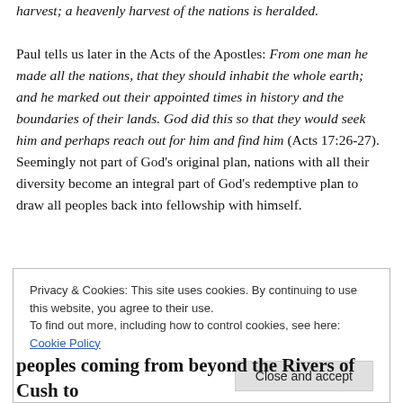harvest; a heavenly harvest of the nations is heralded.

Paul tells us later in the Acts of the Apostles: From one man he made all the nations, that they should inhabit the whole earth; and he marked out their appointed times in history and the boundaries of their lands. God did this so that they would seek him and perhaps reach out for him and find him (Acts 17:26-27). Seemingly not part of God's original plan, nations with all their diversity become an integral part of God's redemptive plan to draw all peoples back into fellowship with himself.
Privacy & Cookies: This site uses cookies. By continuing to use this website, you agree to their use.
To find out more, including how to control cookies, see here: Cookie Policy
Close and accept
peoples coming from beyond the Rivers of Cush to